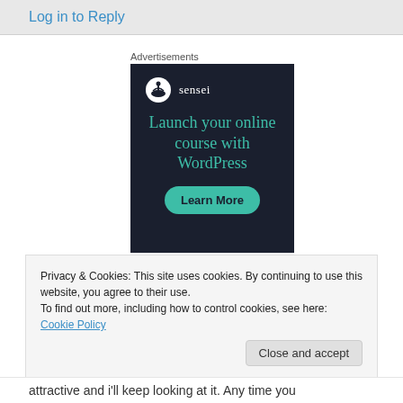Log in to Reply
Advertisements
[Figure (other): Sensei advertisement banner with dark navy background. Shows Sensei logo (tree icon in circle), tagline 'Launch your online course with WordPress' in teal, and a 'Learn More' teal rounded button.]
Privacy & Cookies: This site uses cookies. By continuing to use this website, you agree to their use.
To find out more, including how to control cookies, see here: Cookie Policy
Close and accept
attractive and i'll keep looking at it. Any time you